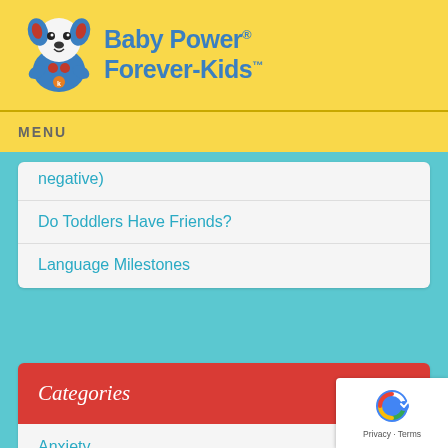[Figure (logo): Baby Power Forever-Kids logo with cartoon dog mascot and yellow banner background]
MENU
negative)
Do Toddlers Have Friends?
Language Milestones
Categories
Anxiety
[Figure (logo): Google reCAPTCHA badge with Privacy - Terms]